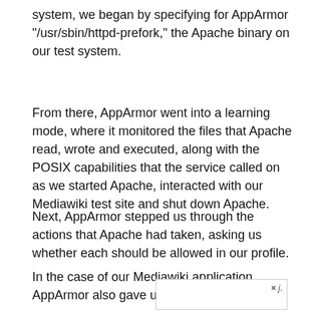system, we began by specifying for AppArmor "/usr/sbin/httpd-prefork," the Apache binary on our test system.
From there, AppArmor went into a learning mode, where it monitored the files that Apache read, wrote and executed, along with the POSIX capabilities that the service called on as we started Apache, interacted with our Mediawiki test site and shut down Apache.
Next, AppArmor stepped us through the actions that Apache had taken, asking us whether each should be allowed in our profile.
In the case of our Mediawiki application, AppArmor also gave us